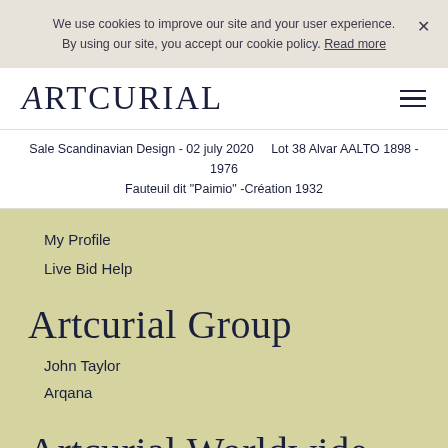We use cookies to improve our site and your user experience. By using our site, you accept our cookie policy. Read more
ARTCURIAL
Sale Scandinavian Design - 02 july 2020   Lot 38 Alvar AALTO 1898 - 1976 Fauteuil dit "Paimio" -Création 1932
My Profile
Live Bid Help
Artcurial Group
John Taylor
Arqana
Artcurial Worldwide